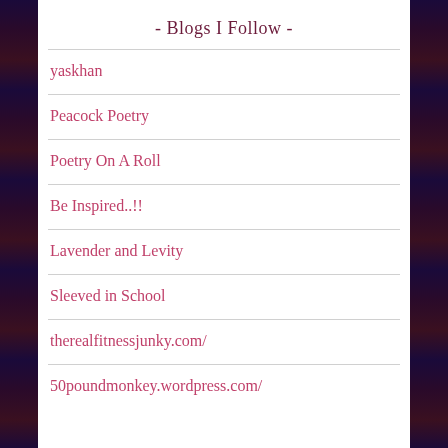- Blogs I Follow -
yaskhan
Peacock Poetry
Poetry On A Roll
Be Inspired..!!
Lavender and Levity
Sleeved in School
therealfitnessjunky.com/
50poundmonkey.wordpress.com/